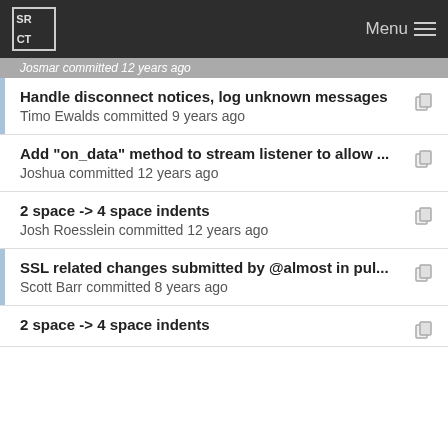SRCT Menu
Josmar committed 12 years ago
Handle disconnect notices, log unknown messages — Timo Ewalds committed 9 years ago
Add "on_data" method to stream listener to allow ... — Joshua committed 12 years ago
2 space -> 4 space indents — Josh Roesslein committed 12 years ago
SSL related changes submitted by @almost in pul... — Scott Barr committed 8 years ago
2 space -> 4 space indents